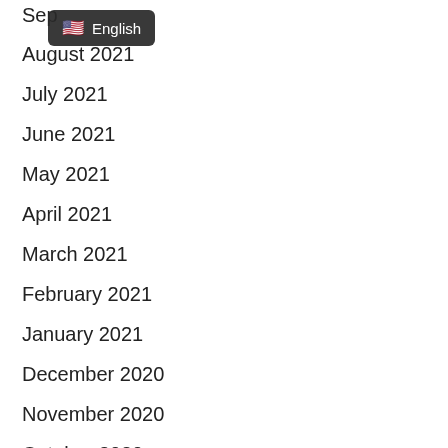Sep…
[Figure (screenshot): Language selector tooltip showing a US flag emoji and the text 'English' on a dark rounded rectangle background]
August 2021
July 2021
June 2021
May 2021
April 2021
March 2021
February 2021
January 2021
December 2020
November 2020
October 2020
September 2020